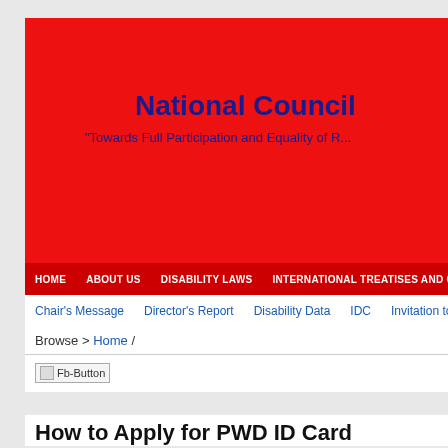National Council
"Towards Full Participation and Equality of R..."
HOME   ABOUT US   DISABILITY LAWS   INTERNATIONAL TREATISES AND COMMITM...
Chair's Message   Director's Report   Disability Data   IDC   Invitation to Bid...
Browse > Home /
[Figure (screenshot): Fb-Button placeholder image (Facebook share button)]
How to Apply for PWD ID Card